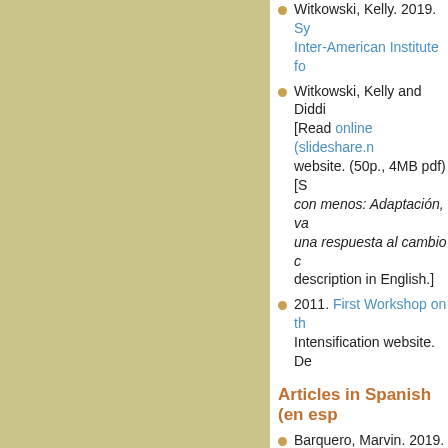Witkowski, Kelly. 2019. Sys... Inter-American Institute fo...
Witkowski, Kelly and Diddi... [Read online (slideshare.n... website. (50p., 4MB pdf) [S... con menos: Adaptación, va... una respuesta al cambio c... description in English.]
2011. First Workshop on th... Intensification website. De...
Articles in Spanish (en esp...
Barquero, Marvin. 2019. N... [Water use reduced with S...
Avances cons SRI en las A... cons SRI en las Américas,...
Montero, Oscar. 2005. SIC...
Workshops/Events
Producir más con menos... RICA] This is an online course in... October and November 20...